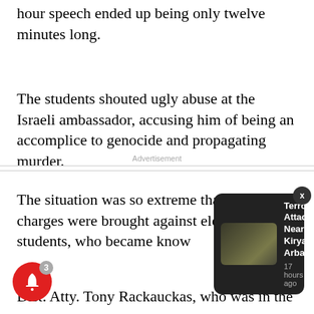hour speech ended up being only twelve minutes long.
The students shouted ugly abuse at the Israeli ambassador, accusing him of being an accomplice to genocide and propagating murder.
Advertisement
The situation was so extreme that criminal charges were brought against eleven students, who became know
[Figure (screenshot): Push notification overlay showing 'Terror Attack Near Kiryat Arba' with thumbnail image and '17 hours ago' timestamp, with X close button]
Dist. Atty. Tony Rackauckas, who was in the